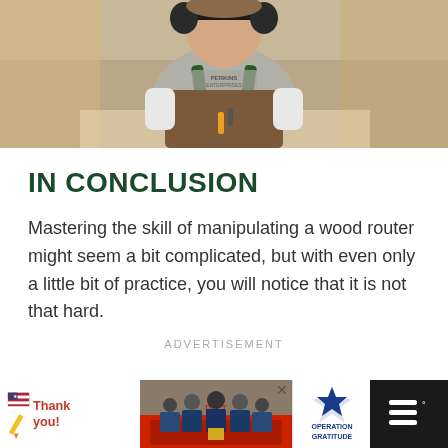[Figure (photo): A woodworker/craftsperson wearing a gray t-shirt with 'PERKINS ENTERPRISES' text, a leather apron, ear protection headphones, and gloves, standing in a workshop environment.]
IN CONCLUSION
Mastering the skill of manipulating a wood router might seem a bit complicated, but with even only a little bit of practice, you will notice that it is not that hard.
ADVERTISEMENT
[Figure (infographic): Advertisement banner: 'Thank you!' text with American flag/star graphic on the left, a group photo of firefighters/military personnel in the center, and 'OPERATION GRATITUDE' logo with star on the right. Close button (x) visible.]